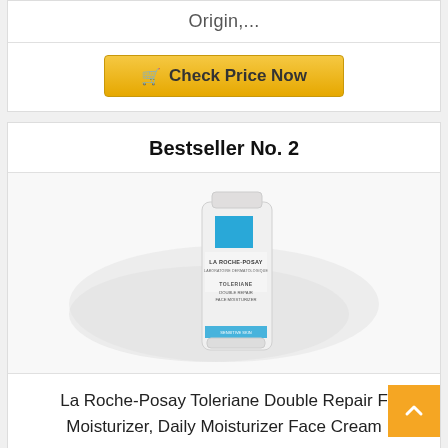Origin,...
Check Price Now
Bestseller No. 2
[Figure (photo): La Roche-Posay Toleriane Double Repair Face Moisturizer tube product photo against white cream swirl background]
La Roche-Posay Toleriane Double Repair Face Moisturizer, Daily Moisturizer Face Cream